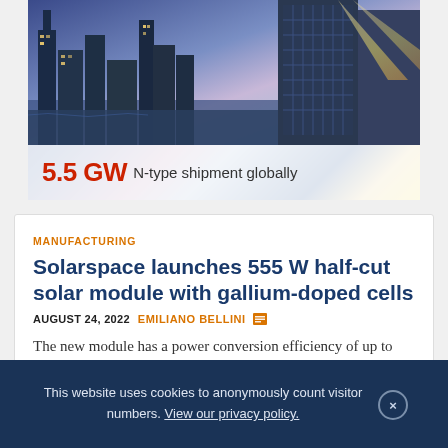[Figure (photo): Advertisement banner showing a night city skyline with solar panel imagery and text '5.5 GW N-type shipment globally']
5.5 GW N-type shipment globally
MANUFACTURING
Solarspace launches 555 W half-cut solar module with gallium-doped cells
AUGUST 24, 2022   EMILIANO BELLINI
The new module has a power conversion efficiency of up to 21.5% and a temperature coefficient of -0.35% per C.
This website uses cookies to anonymously count visitor numbers. View our privacy policy.